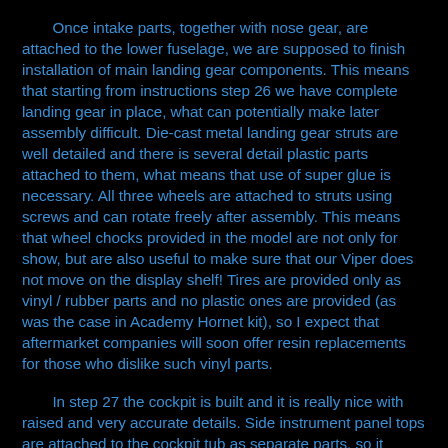Once intake parts, together with nose gear, are attached to the lower fuselage, we are supposed to finish installation of main landing gear components. This means that starting from instructions step 26 we have complete landing gear in place, what can potentially make later assembly difficult. Die-cast metal landing gear struts are well detailed and there is several detail plastic parts attached to them, what means that use of super glue is necessary. All three wheels are attached to struts using screws and can rotate freely after assembly. This means that wheel chocks provided in the model are not only for show, but are also useful to make sure that our Viper does not move on the display shelf! Tires are provided only as vinyl / rubber parts and no plastic ones are provided (as was the case in Academy Hornet kit), so I expect that aftermarket companies will soon offer resin replacements for those who dislike such vinyl parts.
In step 27 the cockpit is built and it is really nice with raised and very accurate details. Side instrument panel tops are attached to the cockpit tub as separate parts, so it should be quite easy for Tamiya to provide different versions of them for other Viper variants in the future. Several parts, like pedals, thrust levers, control stick and some other are also separate parts. Clear parts are